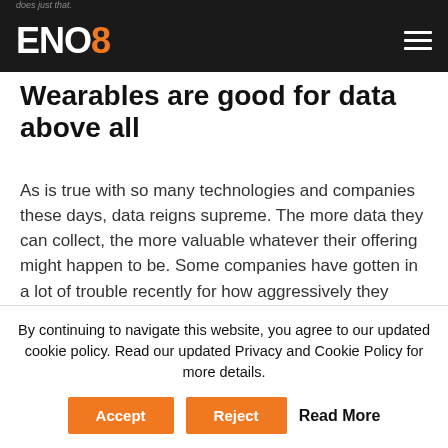ENO8
Wearables are good for data above all
As is true with so many technologies and companies these days, data reigns supreme. The more data they can collect, the more valuable whatever their offering might happen to be. Some companies have gotten in a lot of trouble recently for how aggressively they pursue (or how carelessly they protect) that data (looking at you Google and Facebook), but the maxim still holds. Data is king, and no one is more tuned…
By continuing to navigate this website, you agree to our updated cookie policy. Read our updated Privacy and Cookie Policy for more details.